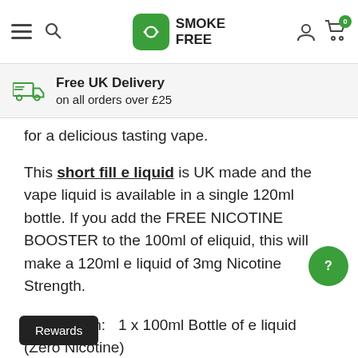[Figure (screenshot): Navigation bar with hamburger menu, search icon, SmokeFree logo (green icon with arrows), user account icon, and shopping cart with 0 badge]
Free UK Delivery on all orders over £25
for a delicious tasting vape.
This short fill e liquid is UK made and the vape liquid is available in a single 120ml bottle. If you add the FREE NICOTINE BOOSTER to the 100ml of eliquid, this will make a 120ml e liquid of 3mg Nicotine Strength.
Available in:   1 x 100ml Bottle of e liquid (Zero Nicotine)
Please Note: Adding 2 x Nicotine Booster (18mg) to make this e liquid into approximately 3mg Nicotine Strength